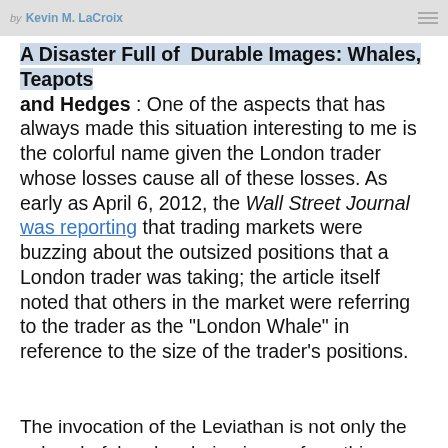by Kevin M. LaCroix
A Disaster Full of Durable Images: Whales, Teapots and Hedges
One of the aspects that has always made this situation interesting to me is the colorful name given the London trader whose losses cause all of these losses. As early as April 6, 2012, the Wall Street Journal was reporting that trading markets were buzzing about the outsized positions that a London trader was taking; the article itself noted that others in the market were referring to the trader as the "London Whale" in reference to the size of the trader's positions.
The invocation of the Leviathan is not only the only colorful and enduring image from this debacle. In an earniing confernce call on April 12, 2012, JP Morgan CEO Jamie Dimon tried to downplay the publicity